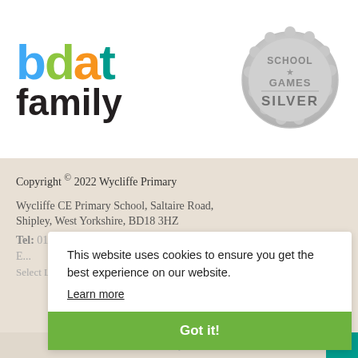[Figure (logo): bdat family logo with colorful letters: b in blue, d in green, a in orange, t in teal, followed by 'family' in dark/black bold text]
[Figure (logo): School Games Silver badge/seal in silver/grey circle with scalloped edge, showing 'SCHOOL GAMES' text and 'SILVER' in bold]
Copyright © 2022 Wycliffe Primary
Wycliffe CE Primary School, Saltaire Road, Shipley, West Yorkshire, BD18 3HZ
Tel: 01274 584775
This website uses cookies to ensure you get the best experience on our website.
Learn more
Got it!